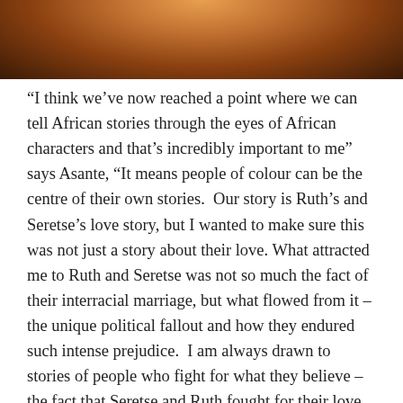[Figure (photo): Close-up photo of two people embracing, warm orange and brown tones, one person wearing an ornate patterned garment]
“I think we’ve now reached a point where we can tell African stories through the eyes of African characters and that’s incredibly important to me” says Asante, “It means people of colour can be the centre of their own stories.  Our story is Ruth’s and Seretse’s love story, but I wanted to make sure this was not just a story about their love. What attracted me to Ruth and Seretse was not so much the fact of their interracial marriage, but what flowed from it – the unique political fallout and how they endured such intense prejudice.  I am always drawn to stories of people who fight for what they believe – the fact that Seretse and Ruth fought for their love and their country is what attracted me to their journey”.